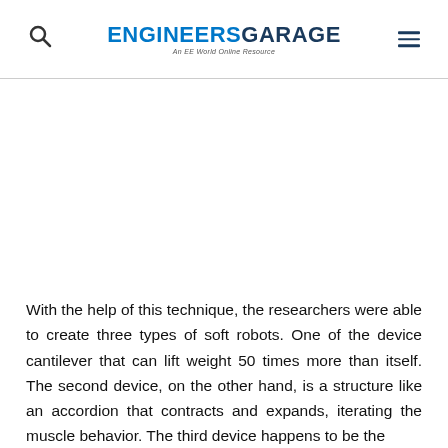ENGINEERS GARAGE — An EE World Online Resource
With the help of this technique, the researchers were able to create three types of soft robots. One of the device cantilever that can lift weight 50 times more than itself. The second device, on the other hand, is a structure like an accordion that contracts and expands, iterating the muscle behavior. The third device happens to be the